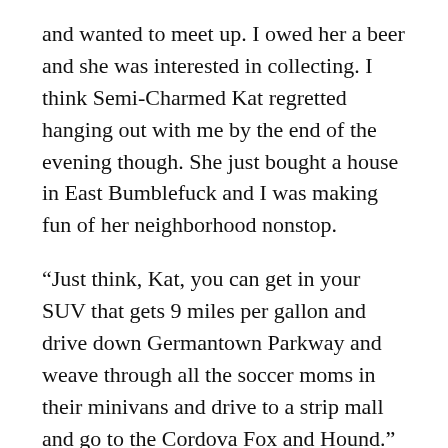and wanted to meet up. I owed her a beer and she was interested in collecting. I think Semi-Charmed Kat regretted hanging out with me by the end of the evening though. She just bought a house in East Bumblefuck and I was making fun of her neighborhood nonstop.
“Just think, Kat, you can get in your SUV that gets 9 miles per gallon and drive down Germantown Parkway and weave through all the soccer moms in their minivans and drive to a strip mall and go to the Cordova Fox and Hound.”
“Or you can drive 5 miles in the opposite direction to another strip mall and go sit at the